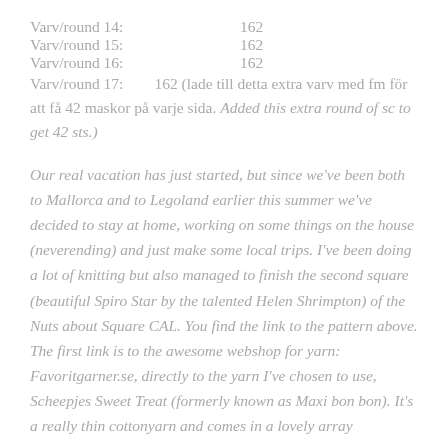Varv/round 14:    162
Varv/round 15:    162
Varv/round 16:    162
Varv/round 17:    162 (lade till detta extra varv med fm för att få 42 maskor på varje sida. Added this extra round of sc to get 42 sts.)
Our real vacation has just started, but since we've been both to Mallorca and to Legoland earlier this summer we've decided to stay at home, working on some things on the house (neverending) and just make some local trips. I've been doing a lot of knitting but also managed to finish the second square (beautiful Spiro Star by the talented Helen Shrimpton) of the Nuts about Square CAL. You find the link to the pattern above. The first link is to the awesome webshop for yarn: Favoritgarner.se, directly to the yarn I've chosen to use, Scheepjes Sweet Treat (formerly known as Maxi bon bon). It's a really thin cottonyarn and comes in a lovely array